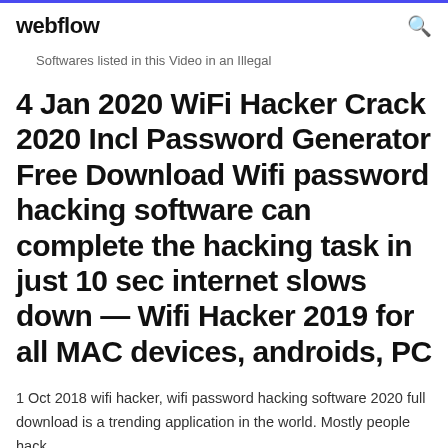webflow
Softwares listed in this Video in an Illegal
4 Jan 2020 WiFi Hacker Crack 2020 Incl Password Generator Free Download Wifi password hacking software can complete the hacking task in just 10 sec internet slows down — Wifi Hacker 2019 for all MAC devices, androids, PC
1 Oct 2018 wifi hacker, wifi password hacking software 2020 full download is a trending application in the world. Mostly people hack